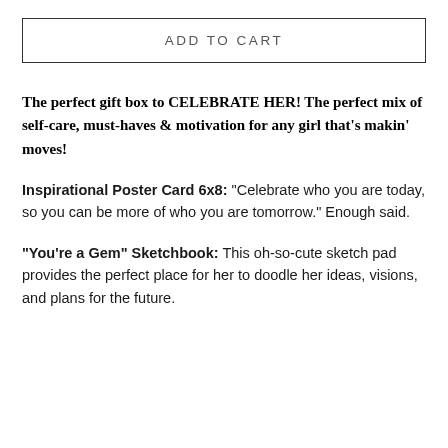ADD TO CART
The perfect gift box to CELEBRATE HER! The perfect mix of self-care, must-haves & motivation for any girl that's makin' moves!
Inspirational Poster Card 6x8: "Celebrate who you are today, so you can be more of who you are tomorrow." Enough said.
"You're a Gem" Sketchbook: This oh-so-cute sketch pad provides the perfect place for her to doodle her ideas, visions, and plans for the future.